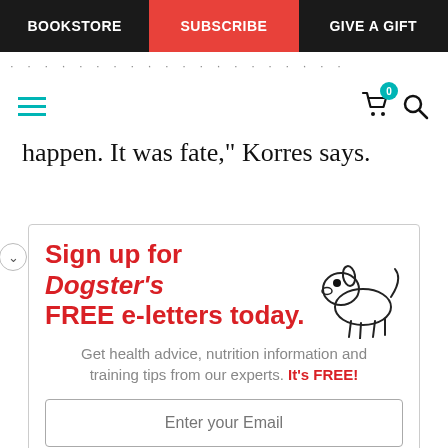BOOKSTORE | SUBSCRIBE | GIVE A GIFT
happen. It was fate,” Korres says.
[Figure (infographic): Dogster newsletter sign-up promotional box with dog illustration, headline 'Sign up for Dogster’s FREE e-letters today.', subtext 'Get health advice, nutrition information and training tips from our experts. It’s FREE!', email input field, and a red 'YES! SIGN ME UP' button.]